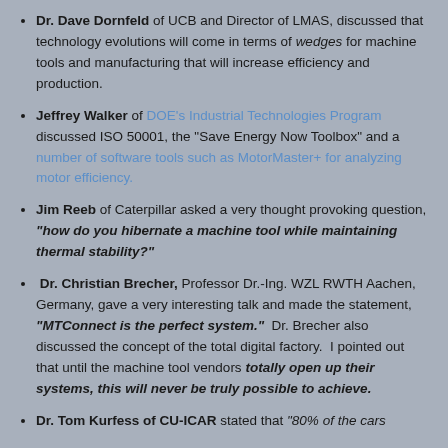Dr. Dave Dornfeld of UCB and Director of LMAS, discussed that technology evolutions will come in terms of wedges for machine tools and manufacturing that will increase efficiency and production.
Jeffrey Walker of DOE's Industrial Technologies Program discussed ISO 50001, the "Save Energy Now Toolbox" and a number of software tools such as MotorMaster+ for analyzing motor efficiency.
Jim Reeb of Caterpillar asked a very thought provoking question, "how do you hibernate a machine tool while maintaining thermal stability?"
Dr. Christian Brecher, Professor Dr.-Ing. WZL RWTH Aachen, Germany, gave a very interesting talk and made the statement, "MTConnect is the perfect system." Dr. Brecher also discussed the concept of the total digital factory. I pointed out that until the machine tool vendors totally open up their systems, this will never be truly possible to achieve.
Dr. Tom Kurfess of CU-ICAR stated that "80% of the cars